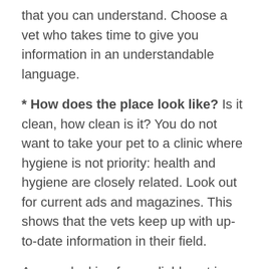that you can understand. Choose a vet who takes time to give you information in an understandable language.
* How does the place look like? Is it clean, how clean is it? You do not want to take your pet to a clinic where hygiene is not priority: health and hygiene are closely related. Look out for current ads and magazines. This shows that the vets keep up with up-to-date information in their field.
Are you looking for a reliable vet in Durham? Browse the site today for professional vet services.
Read More